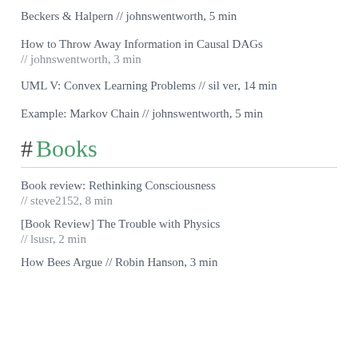Beckers & Halpern // johnswentworth, 5 min
How to Throw Away Information in Causal DAGs // johnswentworth, 3 min
UML V: Convex Learning Problems // sil ver, 14 min
Example: Markov Chain // johnswentworth, 5 min
# Books
Book review: Rethinking Consciousness // steve2152, 8 min
[Book Review] The Trouble with Physics // lsusr, 2 min
How Bees Argue // Robin Hanson, 3 min